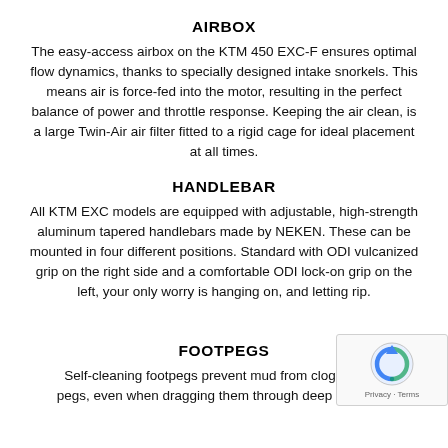AIRBOX
The easy-access airbox on the KTM 450 EXC-F ensures optimal flow dynamics, thanks to specially designed intake snorkels. This means air is force-fed into the motor, resulting in the perfect balance of power and throttle response. Keeping the air clean, is a large Twin-Air air filter fitted to a rigid cage for ideal placement at all times.
HANDLEBAR
All KTM EXC models are equipped with adjustable, high-strength aluminum tapered handlebars made by NEKEN. These can be mounted in four different positions. Standard with ODI vulcanized grip on the right side and a comfortable ODI lock-on grip on the left, your only worry is hanging on, and letting rip.
FOOTPEGS
Self-cleaning footpegs prevent mud from clogging u... pegs, even when dragging them through deep ruts. This...